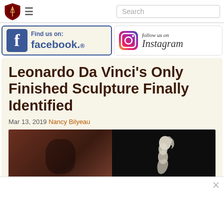[Figure (screenshot): Top navigation bar with shield logo, hamburger menu icon, and search box]
[Figure (logo): Find us on Facebook banner with Facebook logo and text]
[Figure (logo): Follow us on Instagram banner with Instagram camera icon and text]
Leonardo Da Vinci's Only Finished Sculpture Finally Identified
Mar 13, 2019 Nancy Bilyeau
[Figure (photo): Article header image split into two panels: left dark brown/reddish background, right dark background with white sculpture figure]